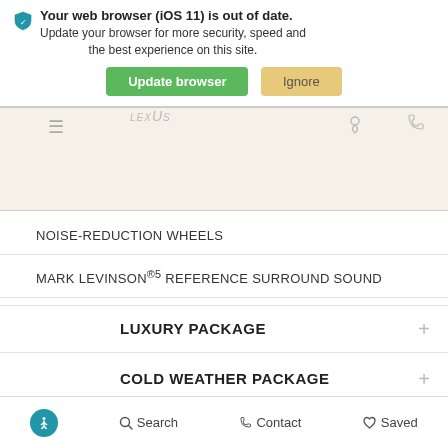[Figure (screenshot): Browser update warning banner overlaid on a Lexus Monterey Peninsula dealership website. The banner contains a warning shield icon, text about iOS 11 browser being out of date, and two buttons: 'Update browser' (green) and 'Ignore' (tan/gold). Behind the banner, the dealership name 'LEXUS MONTEREY PENINSULA' and navigation icons are visible.]
NOISE-REDUCTION WHEELS
MARK LEVINSON®5 REFERENCE SURROUND SOUND
LUXURY PACKAGE
COLD WEATHER PACKAGE
LEXUS SAFETY SYSTEM+ A5
Accessibility  Search  Contact  Saved